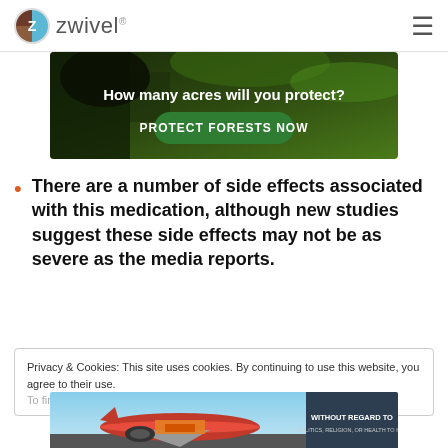zwivel
[Figure (photo): Wildlife conservation banner ad showing a dark animal in a forest with text 'How many acres will you protect?' and a green button 'PROTECT FORESTS NOW']
There are a number of side effects associated with this medication, although new studies suggest these side effects may not be as severe as the media reports.
Privacy & Cookies: This site uses cookies. By continuing to use this website, you agree to their use.
To find out more, including how to control cookies, see here: Cookie
[Figure (photo): Airline cargo advertisement banner showing airplane being loaded with cargo. Text: 'WITHOUT REGARD TO POLITICS, RELIGION, OR HEALTH TO HAL']